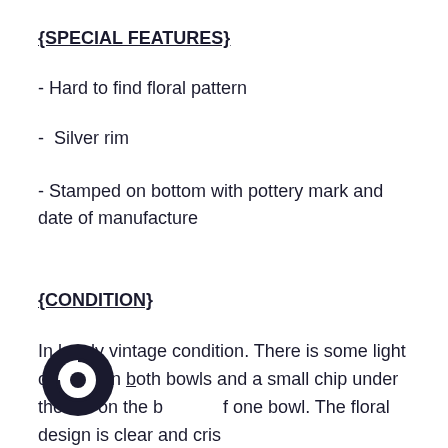{SPECIAL FEATURES}
- Hard to find floral pattern
-  Silver rim
- Stamped on bottom with pottery mark and date of manufacture
{CONDITION}
In lovely vintage condition. There is some light crazing on both bowls and a small chip under the rim on the b of one bowl. The floral design is clear and crisp